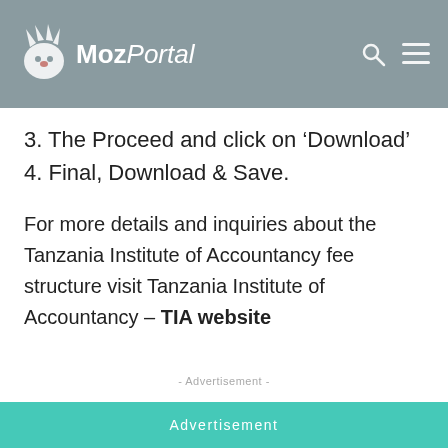MozPortal
3. The Proceed and click on ‘Download’
4. Final, Download & Save.
For more details and inquiries about the Tanzania Institute of Accountancy fee structure visit Tanzania Institute of Accountancy – TIA website
- Advertisement -
Advertisement